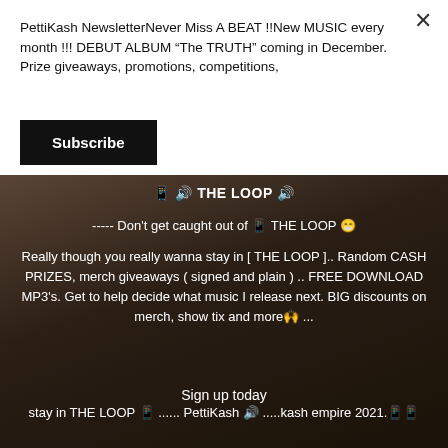PettiKash NewsletterNever Miss A BEAT !!New MUSIC every month !!! DEBUT ALBUM “The TRUTH” coming in December. Prize giveaways, promotions, competitions,
Subscribe
📱 🔊 THE LOOP 🔊
----- Don’t get caught out of 📱 THE LOOP 😁
Really though you really wanna stay in [ THE LOOP ].. Random CASH PRIZES, merch giveaways ( signed and plain ) .. FREE DOWNLOAD MP3’s. Get to help decide what music I release next. BIG discounts on merch, show tix and more🙌 ...
Sign up today
stay in THE LOOP 📱 ...... PettiKash 🔊 .....kash empire 2021.📱📱